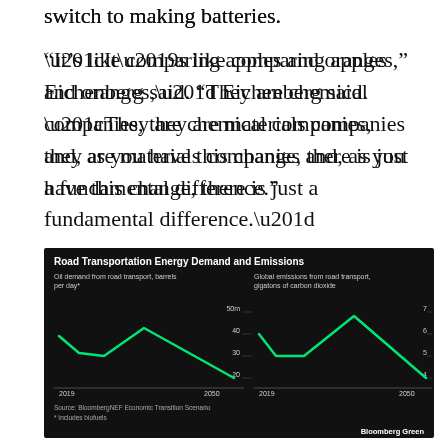switch to making batteries.
“It’s like comparing apples and oranges,” Eichenberg said. “They are chemical companies, they are materials companies and, as you have this change, there is just a fundamental difference.”
[Figure (line-chart): Two line charts on black background showing trends from 2019 to 2050. Left chart: Oil demand from road transport peaking and declining from ~40m to ~20m barrels per day. Right chart: Global emissions from road transport declining from ~6 to ~4 gigatons of CO2. Both lines are bright green on black.]
Source: BloombergNEF Economic Transition Scenario
* Includes biofuels